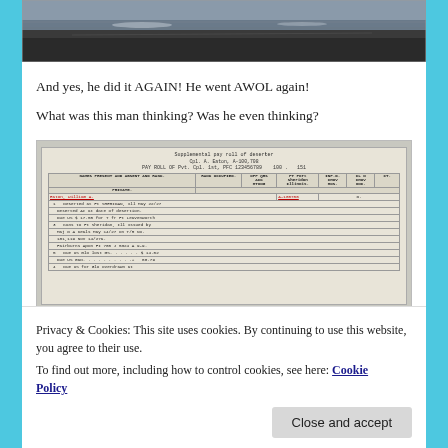[Figure (photo): Black and white photograph of a coastal or beach landscape viewed from above]
And yes, he did it AGAIN! He went AWOL again!
What was this man thinking? Was he even thinking?
[Figure (photo): Scanned military pay roll document titled 'Supplemental pay roll of deserter' and 'PAY ROLL OF Pvt. Cpl.' with handwritten entries for soldiers including one named Eaton, William A. who deserted at Ft. Sheridan, Ill May 22/27, with various monetary entries for amounts due.]
Privacy & Cookies: This site uses cookies. By continuing to use this website, you agree to their use.
To find out more, including how to control cookies, see here: Cookie Policy
Close and accept